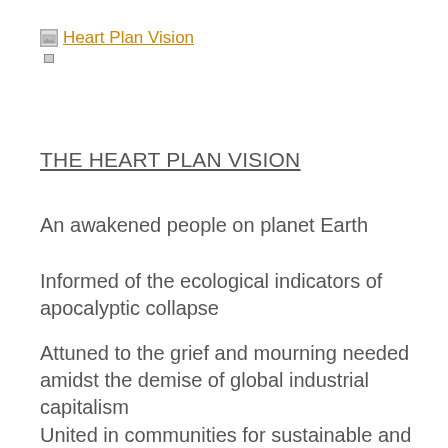Heart Plan Vision
THE HEART PLAN VISION
An awakened people on planet Earth
Informed of the ecological indicators of apocalyptic collapse
Attuned to the grief and mourning needed amidst the demise of global industrial capitalism
United in communities for sustainable and